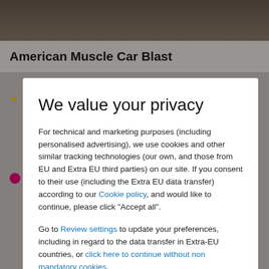American Muscle Car Blast
We value your privacy
For technical and marketing purposes (including personalised advertising), we use cookies and other similar tracking technologies (our own, and those from EU and Extra EU third parties) on our site. If you consent to their use (including the Extra EU data transfer) according to our Cookie policy, and would like to continue, please click "Accept all".
Go to Review settings to update your preferences, including in regard to the data transfer in Extra-EU countries, or click here to continue without non mandatory cookies.
ACCEPT ALL